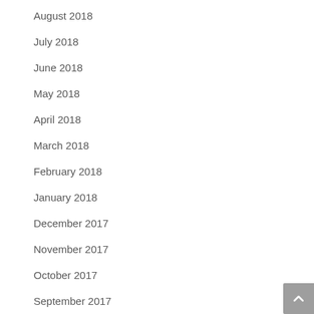August 2018
July 2018
June 2018
May 2018
April 2018
March 2018
February 2018
January 2018
December 2017
November 2017
October 2017
September 2017
August 2017
July 2017
June 2017